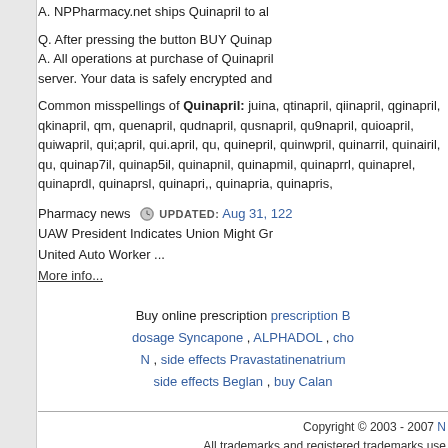A. NPPharmacy.net ships Quinapril to al
Q. After pressing the button BUY Quinap
A. All operations at purchase of Quinapril
server. Your data is safely encrypted and
Common misspellings of Quinapril: juina, qtinapril, qiinapril, qginapril, qkinapril, qm, quenapril, qudnapril, qusnapril, qu9napril, quioapril, quiwapril, qui;april, qui.april, qu, quinepril, quinwpril, quinarril, quinairil, qu, quinap7il, quinap5il, quinapnil, quinapmil, quinaprrl, quinaprel, quinaprdl, quinaprsl, quinapri,, quinapria, quinapris,
Pharmacy news UPDATED: Aug 31, 122
UAW President Indicates Union Might Gr
United Auto Worker ...
More info...
Buy online prescription prescription B dosage Syncapone , ALPHADOL , cho N , side effects Pravastatinenatrium side effects Beglan , buy Calan
Copyright © 2003 - 2007 N
All trademarks and registered trademarks use
Buy